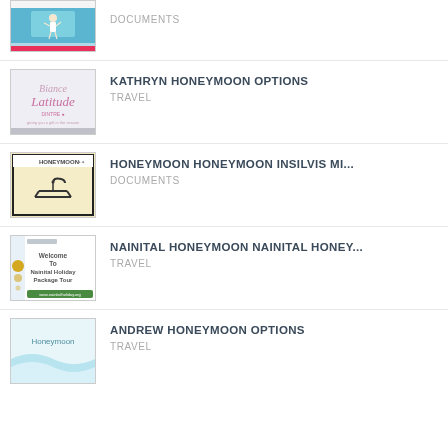DOCUMENTS
KATHRYN HONEYMOON OPTIONS
HONEYMOON HONEYMOON INSILVIS MI...
NAINITAL HONEYMOON NAINITAL HONEY...
ANDREW HONEYMOON OPTIONS